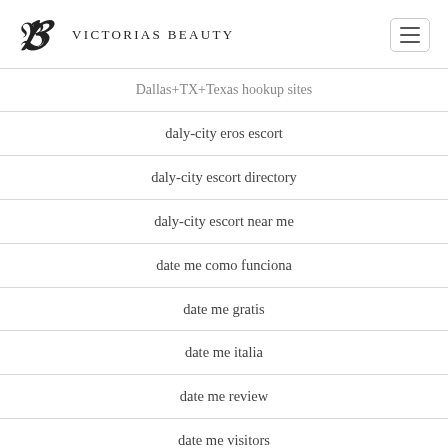Victorias Beauty
Dallas+TX+Texas hookup sites
daly-city eros escort
daly-city escort directory
daly-city escort near me
date me como funciona
date me gratis
date me italia
date me review
date me visitors